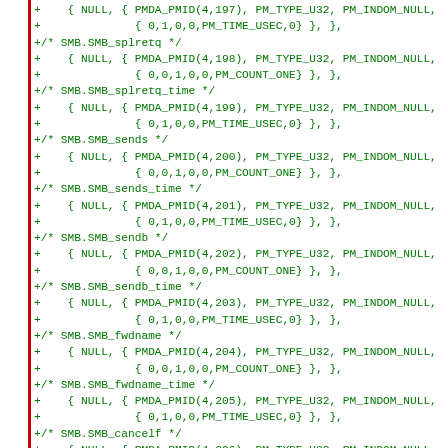Code diff snippet showing SMB PMDA metric definitions including SMB_splretq, SMB_splretq_time, SMB_sends, SMB_sends_time, SMB_sendb, SMB_sendb_time, SMB_fwdname, SMB_fwdname_time, SMB_cancelf, SMB_cancelf_time with PMDA_PMID entries 197-207